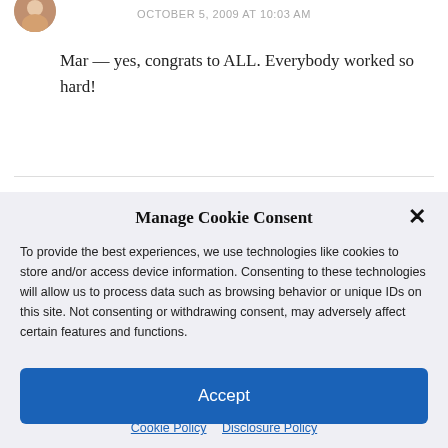OCTOBER 5, 2009 AT 10:03 AM
Mar — yes, congrats to ALL. Everybody worked so hard!
To provide the best experiences, we use technologies like cookies to store and/or access device information. Consenting to these technologies will allow us to process data such as browsing behavior or unique IDs on this site. Not consenting or withdrawing consent, may adversely affect certain features and functions.
Manage Cookie Consent
Accept
Cookie Policy   Disclosure Policy